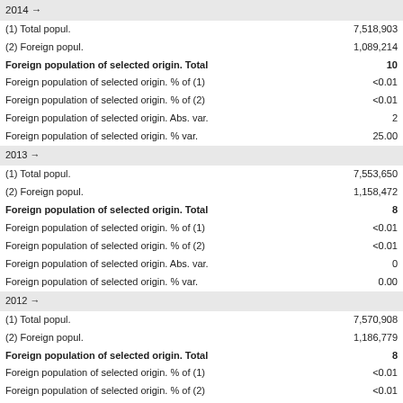| Indicator | Value |
| --- | --- |
| 2014 → |  |
| (1) Total popul. | 7,518,903 |
| (2) Foreign popul. | 1,089,214 |
| Foreign population of selected origin. Total | 10 |
| Foreign population of selected origin. % of (1) | <0.01 |
| Foreign population of selected origin. % of (2) | <0.01 |
| Foreign population of selected origin. Abs. var. | 2 |
| Foreign population of selected origin. % var. | 25.00 |
| 2013 → |  |
| (1) Total popul. | 7,553,650 |
| (2) Foreign popul. | 1,158,472 |
| Foreign population of selected origin. Total | 8 |
| Foreign population of selected origin. % of (1) | <0.01 |
| Foreign population of selected origin. % of (2) | <0.01 |
| Foreign population of selected origin. Abs. var. | 0 |
| Foreign population of selected origin. % var. | 0.00 |
| 2012 → |  |
| (1) Total popul. | 7,570,908 |
| (2) Foreign popul. | 1,186,779 |
| Foreign population of selected origin. Total | 8 |
| Foreign population of selected origin. % of (1) | <0.01 |
| Foreign population of selected origin. % of (2) | <0.01 |
| Foreign population of selected origin. Abs. var. | -1 |
| Foreign population of selected origin. % var. | -11.11 |